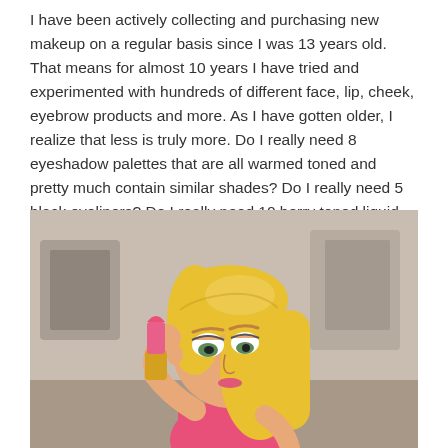I have been actively collecting and purchasing new makeup on a regular basis since I was 13 years old. That means for almost 10 years I have tried and experimented with hundreds of different face, lip, cheek, eyebrow products and more. As I have gotten older, I realize that less is truly more. Do I really need 8 eyeshadow palettes that are all warmed toned and pretty much contain similar shades? Do I really need 5 black eyeliners? Do I really need 10 berry toned liquid lipsticks?
[Figure (illustration): Cartoon illustration of a blonde girl applying pink lipstick, wearing a pink top, with a blurred room background containing posters.]